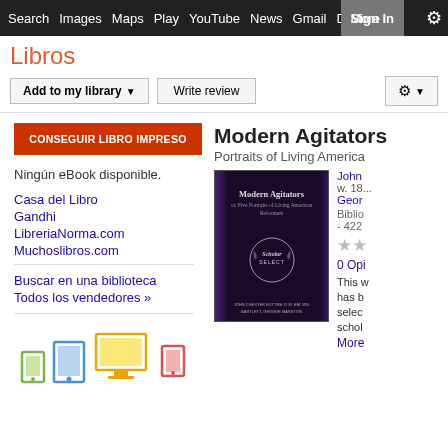Search  Images  Maps  Play  YouTube  News  Gmail  Drive  More  Sign in  ⚙
Libros
Add to my library ▼   Write review   ⚙ ▼
CONSEGUIR LIBRO IMPRESO
Ningún eBook disponible.
Casa del Libro
Gandhi
LibreriaNorma.com
Muchoslibros.com
Buscar en una biblioteca
Todos los vendedores »
[Figure (illustration): Device icons: phone, tablet, e-reader, monitor, tablet]
Modern Agitators
Portraits of Living America
[Figure (photo): Book cover of Modern Agitators - dark purple/black cover with Scholar Select badge and author names]
John Chester Buttre; D. W. EM, WG; George Marston
w. 18...
Bibliografía - 422
★★
0 Opiniones
This w has b selec schol
More